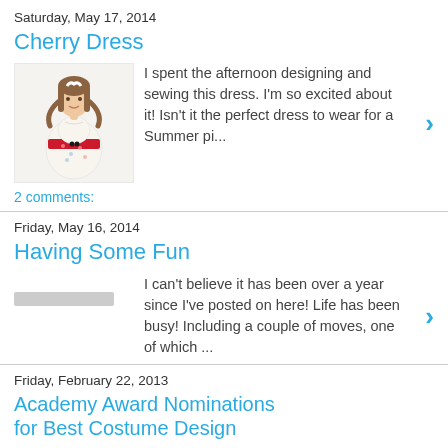Saturday, May 17, 2014
Cherry Dress
[Figure (photo): American Girl doll wearing a white floral dress with red sash]
I spent the afternoon designing and sewing this dress. I'm so excited about it! Isn't it the perfect dress to wear for a Summer pi...
2 comments:
Friday, May 16, 2014
Having Some Fun
I can't believe it has been over a year since I've posted on here! Life has been busy! Including a couple of moves, one of which ...
Friday, February 22, 2013
Academy Award Nominations for Best Costume Design
The Academy Awards are Sunday night! I'm way behind this year in putting up my poll for The Art